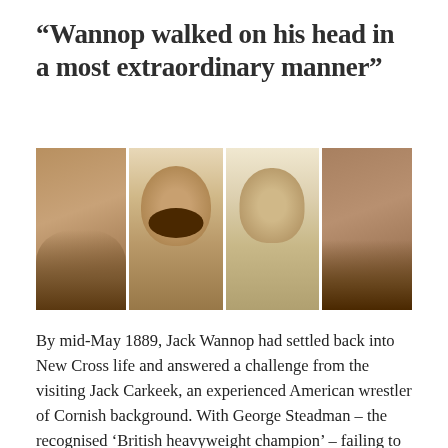“Wannop walked on his head in a most extraordinary manner”
[Figure (photo): A horizontal strip of four sepia-toned images: (1) a crowd scene viewed from behind showing hats; (2) a portrait illustration of a man with a moustache (Jack Wannop); (3) a portrait sketch of a man in a suit (Jack Carkeek); (4) another sepia crowd scene.]
By mid-May 1889, Jack Wannop had settled back into New Cross life and answered a challenge from the visiting Jack Carkeek, an experienced American wrestler of Cornish background. With George Steadman – the recognised ‘British heavyweight champion’ – failing to fix up with Carkeek, Wannop was prepared to meet him instead for the competition he was looking for. Read More...